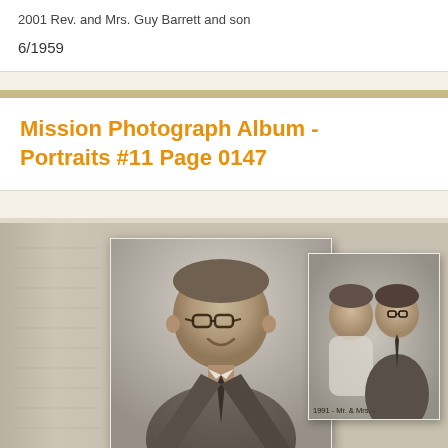2001 Rev. and Mrs. Guy Barrett and son
6/1959
Mission Photograph Album - Portraits #11 Page 0147
[Figure (photo): Black and white photograph page from a mission portrait album. Left portion shows a large portrait of a man in suit and glasses smiling. Right portion shows a smaller photo of a woman and man together with a handwritten caption reading '1991... Mr. and Mrs...'. The background is a light gray album page.]